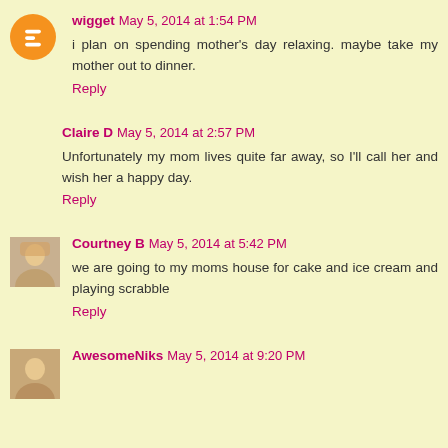wigget May 5, 2014 at 1:54 PM
i plan on spending mother's day relaxing. maybe take my mother out to dinner.
Reply
Claire D May 5, 2014 at 2:57 PM
Unfortunately my mom lives quite far away, so I'll call her and wish her a happy day.
Reply
Courtney B May 5, 2014 at 5:42 PM
we are going to my moms house for cake and ice cream and playing scrabble
Reply
AwesomeNiks May 5, 2014 at 9:20 PM